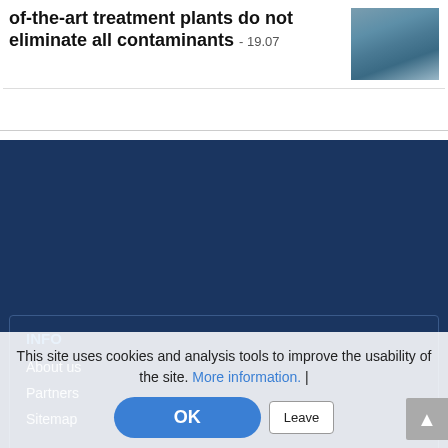of-the-art treatment plants do not eliminate all contaminants - 19.07
[Figure (photo): Aerial photo of water treatment plant or reservoir with floating structures]
INFO
About us
Partners
Sitemap
Post a job
Post a program
Post an event
This site uses cookies and analysis tools to improve the usability of the site. More information. |